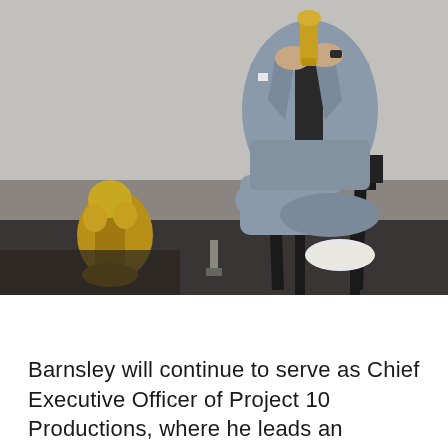[Figure (photo): A person in a light grey suit sitting in a black director's chair, holding a gold award trophy. Additional gold award trophies are visible on the floor near the chair. The person wears white sneakers. The background is a light grey studio backdrop.]
Barnsley will continue to serve as Chief Executive Officer of Project 10 Productions, where he leads an